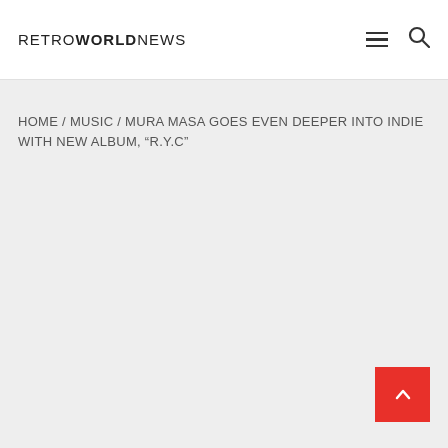RETROWORLDNEWS
HOME / MUSIC / MURA MASA GOES EVEN DEEPER INTO INDIE WITH NEW ALBUM, “R.Y.C”